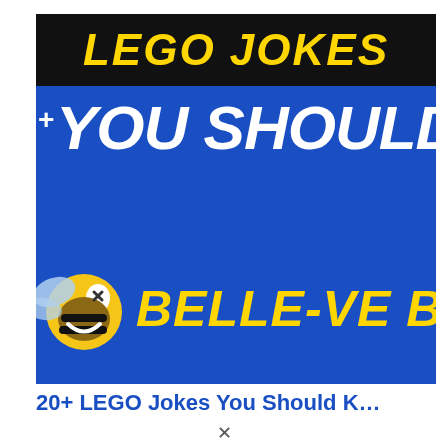[Figure (illustration): Book or website cover image with blue background. Black banner at top reads 'LEGO JOKES' in bold yellow italic text. Large white bold italic text reads 'YOU SHOULD KN' (Know, cropped). A laughing bee emoji on the left and bold yellow italic text 'BELLE-VE BRICKS' on the right.]
20+ LEGO Jokes You Should K…